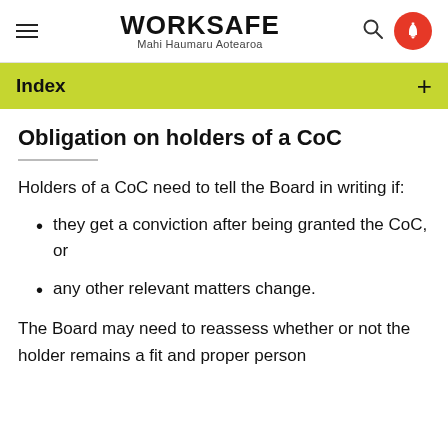WORKSAFE
Mahi Haumaru Aotearoa
Index
Obligation on holders of a CoC
Holders of a CoC need to tell the Board in writing if:
they get a conviction after being granted the CoC, or
any other relevant matters change.
The Board may need to reassess whether or not the holder remains a fit and proper person